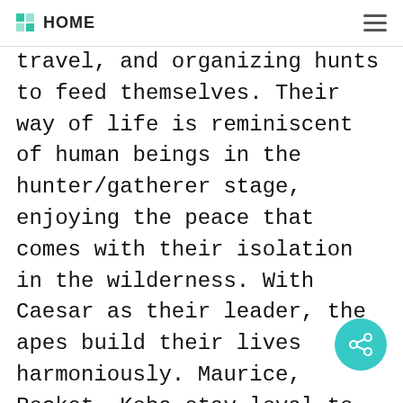HOME
travel, and organizing hunts to feed themselves. Their way of life is reminiscent of human beings in the hunter/gatherer stage, enjoying the peace that comes with their isolation in the wilderness. With Caesar as their leader, the apes build their lives harmoniously. Maurice, Rocket, Koba stay loyal to Caesar and fight to the end for him. Life is ideal, which Caesar chalks u to apes' inherently peaceful nature. Ape life is peaceful until